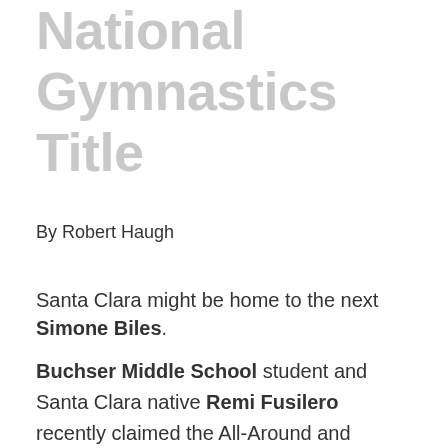National Gymnastics Title
By Robert Haugh
Santa Clara might be home to the next Simone Biles.
Buchser Middle School student and Santa Clara native Remi Fusilero recently claimed the All-Around and Balance Beam National Title at the 2022 Western National Championships in Salt Lake